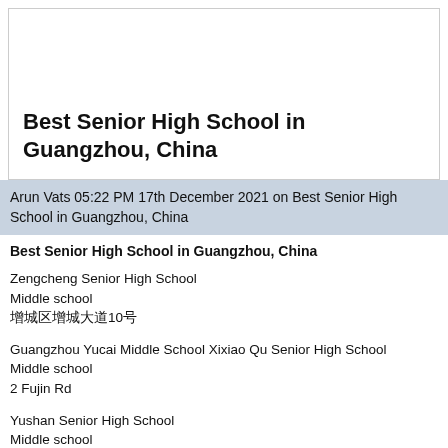Best Senior High School in Guangzhou, China
Arun Vats 05:22 PM 17th December 2021 on Best Senior High School in Guangzhou, China
Best Senior High School in Guangzhou, China
Zengcheng Senior High School
Middle school
增城区增城大道10号
Guangzhou Yucai Middle School Xixiao Qu Senior High School
Middle school
2 Fujin Rd
Yushan Senior High School
Middle school
Fuxian Rd, 龙岗区38号
+86 20 3473 7838